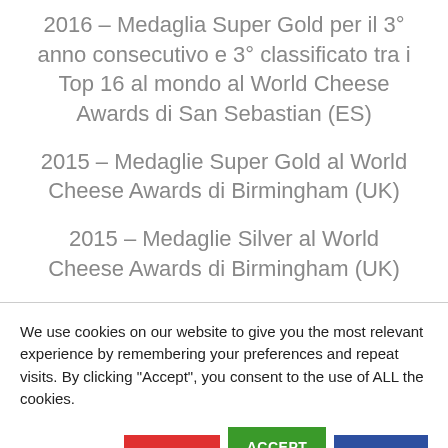2016 – Medaglia Super Gold per il 3° anno consecutivo e 3° classificato tra i Top 16 al mondo al World Cheese Awards di San Sebastian (ES)
2015 – Medaglie Super Gold al World Cheese Awards di Birmingham (UK)
2015 – Medaglie Silver al World Cheese Awards di Birmingham (UK)
We use cookies on our website to give you the most relevant experience by remembering your preferences and repeat visits. By clicking "Accept", you consent to the use of ALL the cookies.
Cookie settings | ACCEPT | ACCEPT ALL | REJECT
Read More